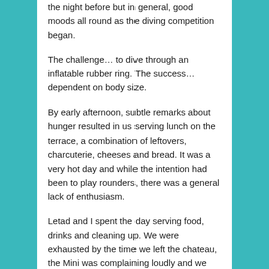the night before but in general, good moods all round as the diving competition began.
The challenge… to dive through an inflatable rubber ring. The success… dependent on body size.
By early afternoon, subtle remarks about hunger resulted in us serving lunch on the terrace, a combination of leftovers, charcuterie, cheeses and bread. It was a very hot day and while the intention had been to play rounders, there was a general lack of enthusiasm.
Letad and I spent the day serving food, drinks and cleaning up. We were exhausted by the time we left the chateau, the Mini was complaining loudly and we weren't sure we'd make it home.
Thankfully we finally made it after screaming along the péage, the hot wind blowing in our faces and the car about to die. We dropped the kids off and then Letad set off to the airport to pick up an emergency rental car to take to Corsica as we feared the Mini wouldn't make it. A